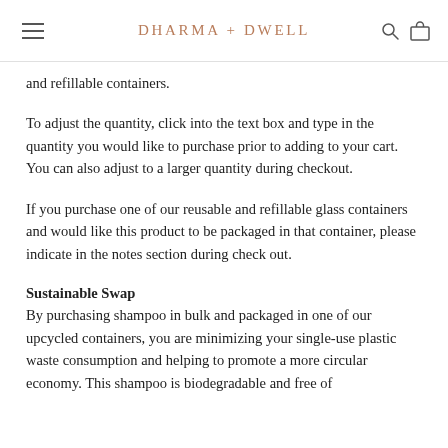DHARMA + DWELL
and refillable containers.
To adjust the quantity, click into the text box and type in the quantity you would like to purchase prior to adding to your cart. You can also adjust to a larger quantity during checkout.
If you purchase one of our reusable and refillable glass containers and would like this product to be packaged in that container, please indicate in the notes section during check out.
Sustainable Swap
By purchasing shampoo in bulk and packaged in one of our upcycled containers, you are minimizing your single-use plastic waste consumption and helping to promote a more circular economy. This shampoo is biodegradable and free of